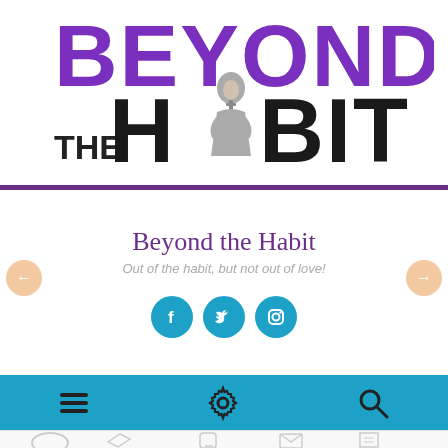[Figure (logo): Beyond the Habit logo: 'BEYOND' in large purple bold text on top, 'THE HABIT' in large black bold text below with a gray nun figure as the letter A, forming the brand logo.]
Beyond the Habit
Out of the habit, but not out of love!
[Figure (illustration): Three teal circular social media icons: Facebook (f), Twitter (bird), Instagram (camera)]
[Figure (screenshot): Teal navigation bar with hamburger menu icon, gear/settings icon, and search magnifying glass icon]
[Figure (illustration): Bottom strip showing illustrated icons including a donut, pencil/letter, medical cross phone, envelope, and paper airplane]